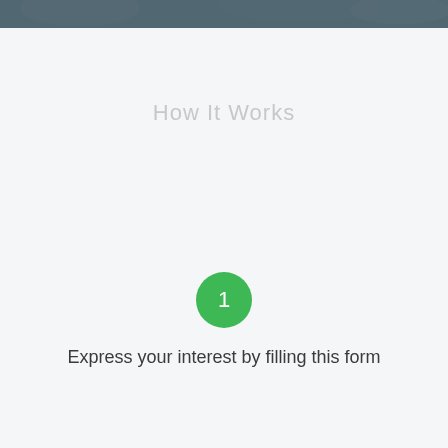[Figure (photo): Top banner image showing blurred background photo of people, dark teal/grey tone]
How It Works
[Figure (infographic): Green circle badge with white number 1 inside, indicating step one]
Express your interest by filling this form